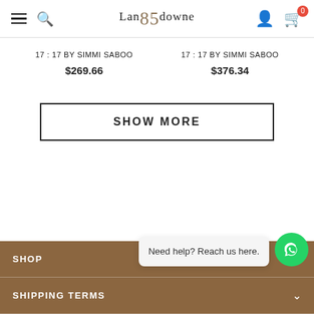Lansdowne 85 — navigation header with hamburger, search, logo, user, cart (0)
17 : 17 BY SIMMI SABOO
$269.66
17 : 17 BY SIMMI SABOO
$376.34
SHOW MORE
SHOP | SHIPPING TERMS | Need help? Reach us here.